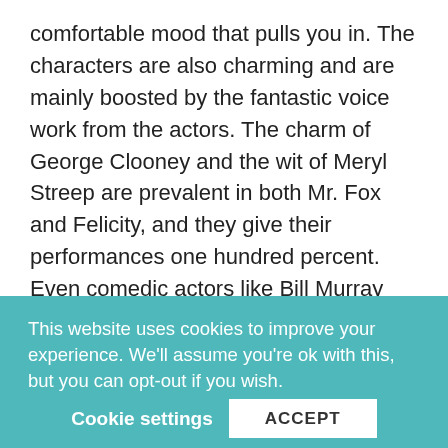comfortable mood that pulls you in. The characters are also charming and are mainly boosted by the fantastic voice work from the actors. The charm of George Clooney and the wit of Meryl Streep are prevalent in both Mr. Fox and Felicity, and they give their performances one hundred percent. Even comedic actors like Bill Murray and Owen Wilson are great in the movie.

Another thing that should be credited is the Oscar nominated score by Alexandre Desplat. Like the animation, it definitely had a warm vibrance to it and made me feel as if I were in warm September
This website uses cookies to improve your experience. We'll assume you're ok with this, but you can opt-out if you wish.
Cookie settings   ACCEPT